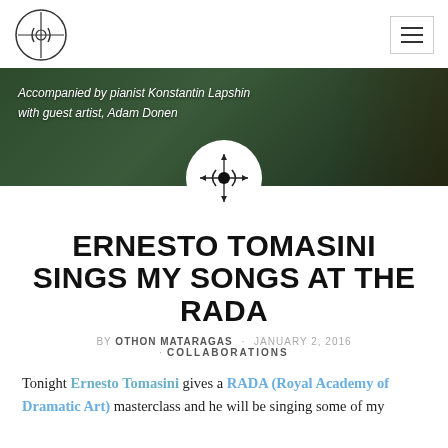Site logo and navigation menu
[Figure (photo): Dark green banner photo with text overlay reading 'Accompanied by pianist Konstantin Lapshin with guest artist, Adam Donen' and a circular logo centered at the bottom]
ERNESTO TOMASINI SINGS MY SONGS AT THE RADA
BY OTHON MATARAGAS · JANUARY 2, 2016 · COLLABORATIONS
Tonight Ernesto Tomasini gives a RADA (Royal Academy of Dramatic Art) masterclass and he will be singing some of my